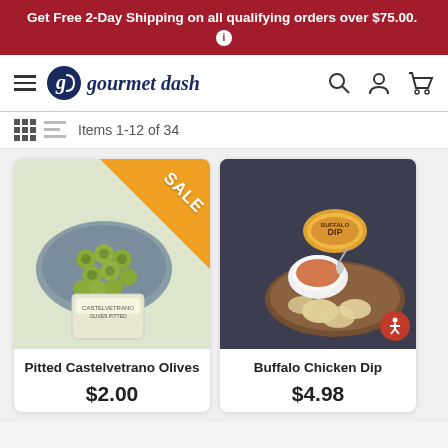Get Free 2-Day Shipping on all qualifying orders over $75.00.
[Figure (logo): Gourmet Dash logo with hamburger menu, search, account, and cart icons in navigation bar]
Items 1-12 of 34
[Figure (photo): Pitted Castelvetrano Olives on a plate with a container, with a SALE triangle badge in orange]
Pitted Castelvetrano Olives
$2.00
[Figure (photo): Buffalo Chicken Dip in a container next to a bowl with crackers on a wooden board]
Buffalo Chicken Dip
$4.98